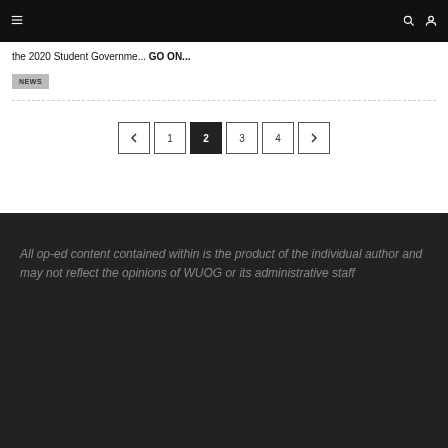☰  🔍 👤
the 2020 Student Governme... GO ON...
NEWS
← 1 2 3 4 →
All op-ed content contained within is the product of the individual author and may not reflect the opinions of WUOG or its administrative staff